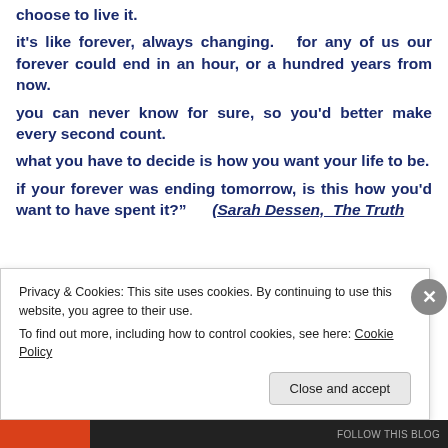Life can be long or short, it all depends on how you choose to live it. it's like forever, always changing.  for any of us our forever could end in an hour, or a hundred years from now. you can never know for sure, so you'd better make every second count. what you have to decide is how you want your life to be. if your forever was ending tomorrow, is this how you'd want to have spent it?" (Sarah Dessen, The Truth
Privacy & Cookies: This site uses cookies. By continuing to use this website, you agree to their use.
To find out more, including how to control cookies, see here: Cookie Policy